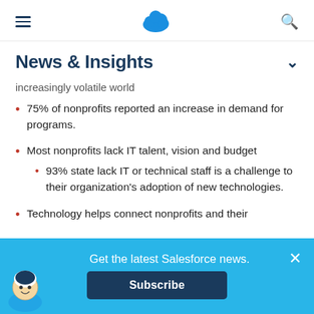Salesforce News & Insights - navigation header with hamburger menu, cloud logo, and search icon
News & Insights
increasingly volatile world
75% of nonprofits reported an increase in demand for programs.
Most nonprofits lack IT talent, vision and budget
93% state lack IT or technical staff is a challenge to their organization's adoption of new technologies.
Technology helps connect nonprofits and their
Get the latest Salesforce news.
Subscribe